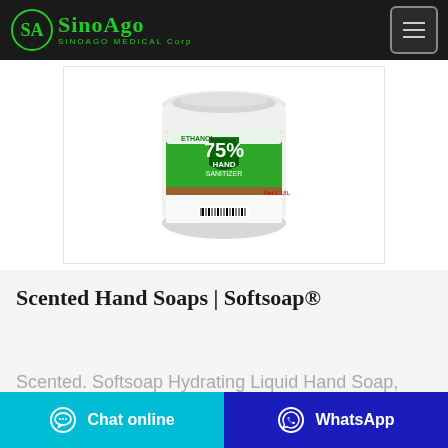SINOAGO MEDICAL Corp
[Figure (photo): White canister of 75% Hand Sanitizer with green label, product photo on white background]
Scented Hand Soaps | Softsoap®
Scented. Softsoap Hydrating Liquid Hand Soap, Watermelon & Mint
Chat online | WhatsApp